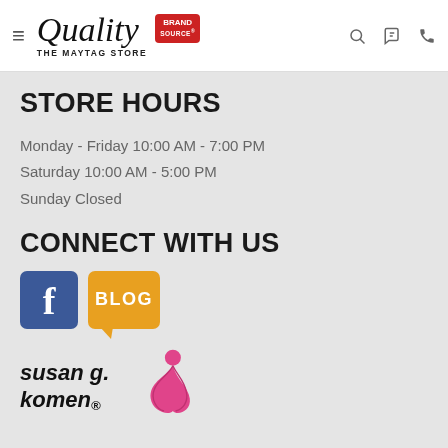Quality The Maytag Store | Brand Source
STORE HOURS
Monday - Friday 10:00 AM - 7:00 PM
Saturday 10:00 AM - 5:00 PM
Sunday Closed
CONNECT WITH US
[Figure (logo): Facebook icon and Blog icon]
[Figure (logo): Susan G. Komen logo with pink ribbon]